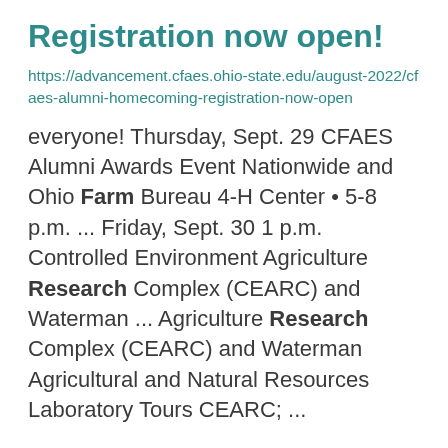Registration now open!
https://advancement.cfaes.ohio-state.edu/august-2022/cfaes-alumni-homecoming-registration-now-open
everyone! Thursday, Sept. 29 CFAES Alumni Awards Event Nationwide and Ohio Farm Bureau 4-H Center • 5-8 p.m. ... Friday, Sept. 30 1 p.m. Controlled Environment Agriculture Research Complex (CEARC) and Waterman ... Agriculture Research Complex (CEARC) and Waterman Agricultural and Natural Resources Laboratory Tours CEARC; ...
Read Our New Western Ohio